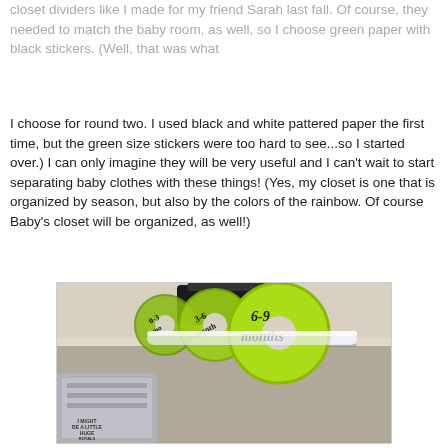closet dividers like I made for my friend Sarah last fall.  Of course, they needed to match the baby room, as well, so I choose green paper with black stickers.  (Well, that was what I choose for round two.  I used black and white pattered paper the first time, but the green size stickers were too hard to see...so I started over.)  I can only imagine they will be very useful and I can't wait to start separating baby clothes with these things!  (Yes, my closet is one that is organized by season, but also by the colors of the rainbow.  Of course Baby's closet will be organized, as well!)
[Figure (photo): Photo of green circular closet dividers on a white closet rod, showing labels '0-3 months', '3-6 months', and '6-9 months' in black text on bright green circles. Baby clothes and a dark bag are visible in the background.]